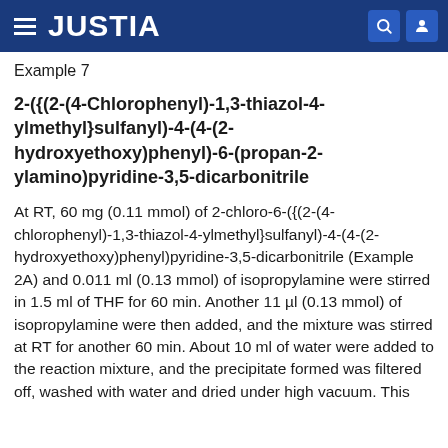JUSTIA
Example 7
2-({(2-(4-Chlorophenyl)-1,3-thiazol-4-ylmethyl}sulfanyl)-4-(4-(2-hydroxyethoxy)phenyl)-6-(propan-2-ylamino)pyridine-3,5-dicarbonitrile
At RT, 60 mg (0.11 mmol) of 2-chloro-6-({(2-(4-chlorophenyl)-1,3-thiazol-4-ylmethyl}sulfanyl)-4-(4-(2-hydroxyethoxy)phenyl)pyridine-3,5-dicarbonitrile (Example 2A) and 0.011 ml (0.13 mmol) of isopropylamine were stirred in 1.5 ml of THF for 60 min. Another 11 µl (0.13 mmol) of isopropylamine were then added, and the mixture was stirred at RT for another 60 min. About 10 ml of water were added to the reaction mixture, and the precipitate formed was filtered off, washed with water and dried under high vacuum. This